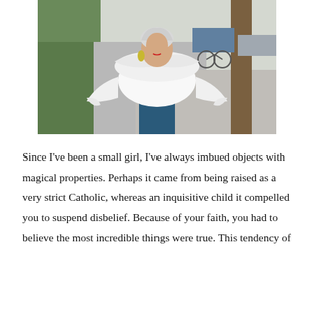[Figure (photo): An older woman with white/grey hair, wearing a dramatic white blouse with a large ruffle collar and wide bell sleeves, paired with blue trousers, standing on a sidewalk with greenery and cars in the background, looking upward.]
Since I've been a small girl, I've always imbued objects with magical properties. Perhaps it came from being raised as a very strict Catholic, whereas an inquisitive child it compelled you to suspend disbelief. Because of your faith, you had to believe the most incredible things were true. This tendency of